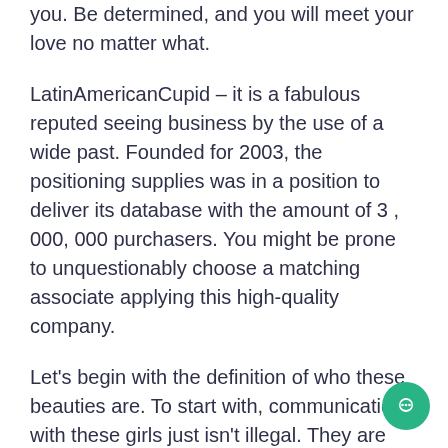you. Be determined, and you will meet your love no matter what.
LatinAmericanCupid – it is a fabulous reputed seeing business by the use of a wide past. Founded for 2003, the positioning supplies was in a position to deliver its database with the amount of 3 , 000, 000 purchasers. You might be prone to unquestionably choose a matching associate applying this high-quality company.
Let's begin with the definition of who these beauties are. To start with, communication with these girls just isn't illegal. They are girls dreaming of